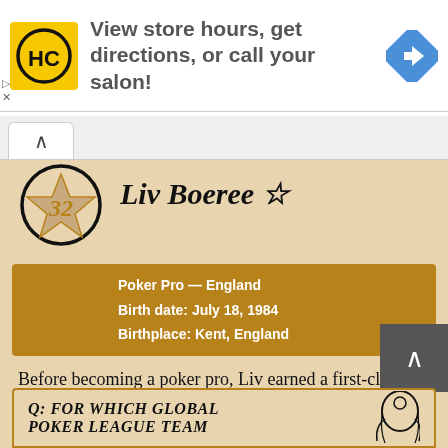[Figure (infographic): Advertisement banner: HC logo (yellow square with HC letters), text 'View store hours, get directions, or call your salon!', blue diamond arrow navigation icon]
Liv Boeree ☆
Poker Pro — England
Birth date: July 18, 1984
Birthplace: Kent, England
Before becoming a poker pro, Liv earned a first-class honours degree in astrophysics from the University of Manchester. She also played lead guitar in the heavy metal band Dissonance, and briefly for the band Nemhain
Q: FOR WHICH GLOBAL POKER LEAGUE TEAM